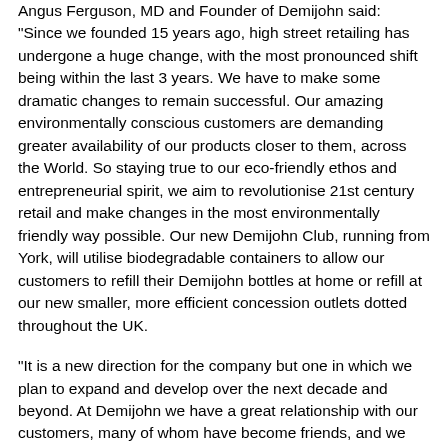Angus Ferguson, MD and Founder of Demijohn said: "Since we founded 15 years ago, high street retailing has undergone a huge change, with the most pronounced shift being within the last 3 years. We have to make some dramatic changes to remain successful. Our amazing environmentally conscious customers are demanding greater availability of our products closer to them, across the World. So staying true to our eco-friendly ethos and entrepreneurial spirit, we aim to revolutionise 21st century retail and make changes in the most environmentally friendly way possible. Our new Demijohn Club, running from York, will utilise biodegradable containers to allow our customers to refill their Demijohn bottles at home or refill at our new smaller, more efficient concession outlets dotted throughout the UK.
"It is a new direction for the company but one in which we plan to expand and develop over the next decade and beyond. At Demijohn we have a great relationship with our customers, many of whom have become friends, and we will not desert them, but will enfold them into the Demijohn